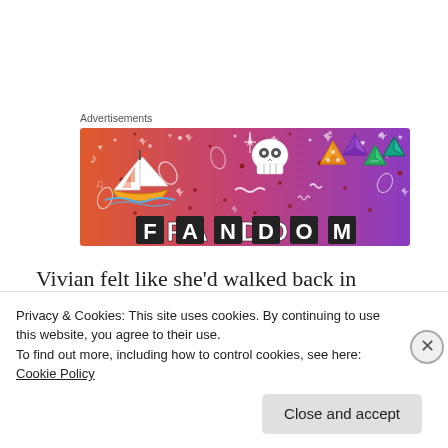Advertisements
[Figure (illustration): Fandom advertisement banner with gradient background (orange to purple). Contains illustrated icons: sailboat, skull, dice, other doodles. Large bold text 'FANDOM' at the bottom.]
Vivian felt like she'd walked back in time; the bathroom was off to the right and the welcome table, with peppermint candy in a glass dish on top of it, were to the left. It was the exact
Privacy & Cookies: This site uses cookies. By continuing to use this website, you agree to their use.
To find out more, including how to control cookies, see here: Cookie Policy
Close and accept